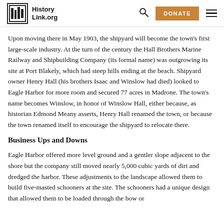HistoryLink.org
Upon moving there in May 1903, the shipyard will become the town's first large-scale industry. At the turn of the century the Hall Brothers Marine Railway and Shipbuilding Company (its formal name) was outgrowing its site at Port Blakely, which had steep hills ending at the beach. Shipyard owner Henry Hall (his brothers Isaac and Winslow had died) looked to Eagle Harbor for more room and secured 77 acres in Madrone. The town's name becomes Winslow, in honor of Winslow Hall, either because, as historian Edmond Meany asserts, Henry Hall renamed the town, or because the town renamed itself to encourage the shipyard to relocate there.
Business Ups and Downs
Eagle Harbor offered more level ground and a gentler slope adjacent to the shore but the company still moved nearly 5,000 cubic yards of dirt and dredged the harbor. These adjustments to the landscape allowed them to build five-masted schooners at the site. The schooners had a unique design that allowed them to be loaded through the bow or